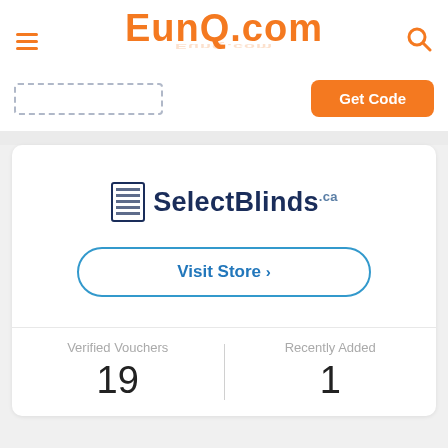EunQ.com
[Figure (screenshot): Get Code button with dotted input box for coupon code entry]
[Figure (logo): SelectBlinds.ca store logo with blinds icon]
Visit Store >
Verified Vouchers 19
Recently Added 1